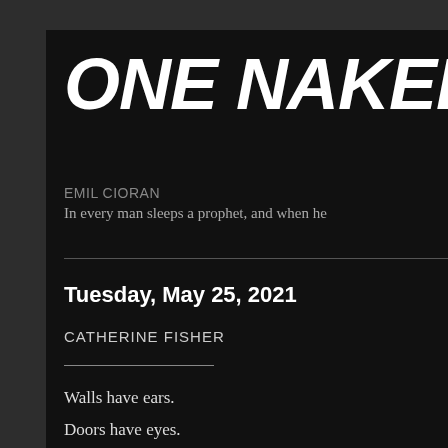ONE NAKED FAR
EMIL CIORAN
In every man sleeps a prophet, and when he
Tuesday, May 25, 2021
CATHERINE FISHER
Walls have ears.
Doors have eyes.
Trees have voices.